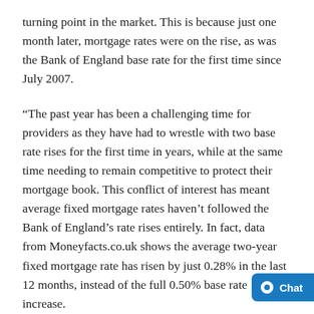turning point in the market. This is because just one month later, mortgage rates were on the rise, as was the Bank of England base rate for the first time since July 2007.
“The past year has been a challenging time for providers as they have had to wrestle with two base rate rises for the first time in years, while at the same time needing to remain competitive to protect their mortgage book. This conflict of interest has meant average fixed mortgage rates haven’t followed the Bank of England’s rate rises entirely. In fact, data from Moneyfacts.co.uk shows the average two-year fixed mortgage rate has risen by just 0.28% in the last 12 months, instead of the full 0.50% base rate increase.
“Despite this, borrowers opting for a two-year fixed rate mortgage today would still be £27.93** per month or £3¯¯.¯¯ per year worse off compared to those who were luck…